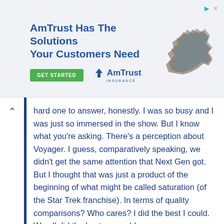[Figure (screenshot): AmTrust Insurance advertisement banner with headline 'AmTrust Has The Solutions Your Customers Need', a green GET STARTED button, AmTrust Insurance logo, and a map shape graphic.]
hard one to answer, honestly. I was so busy and I was just so immersed in the show. But I know what you're asking. There's a perception about Voyager. I guess, comparatively speaking, we didn't get the same attention that Next Gen got. But I thought that was just a product of the beginning of what might be called saturation (of the Star Trek franchise). In terms of quality comparisons? Who cares? I did the best I could. We all did the best we could.
Mulgrew also talked about how producers